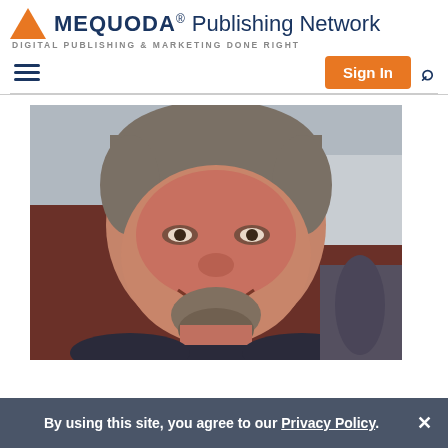MEQUODA® Publishing Network — DIGITAL PUBLISHING & MARKETING DONE RIGHT
[Figure (photo): Headshot of a middle-aged man with gray-brown hair and a goatee, smiling, wearing a dark suit jacket. Photo is somewhat blurry/out of focus.]
By using this site, you agree to our Privacy Policy.